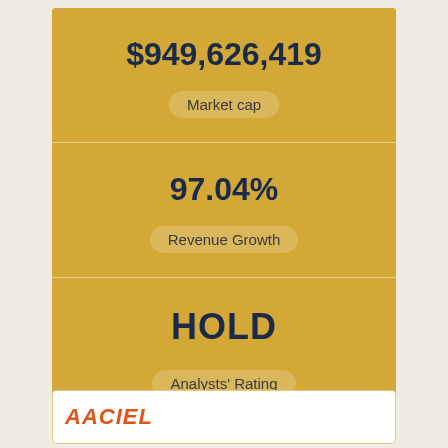$949,626,419
Market cap
97.04%
Revenue Growth
HOLD
Analysts' Rating
AACIEL